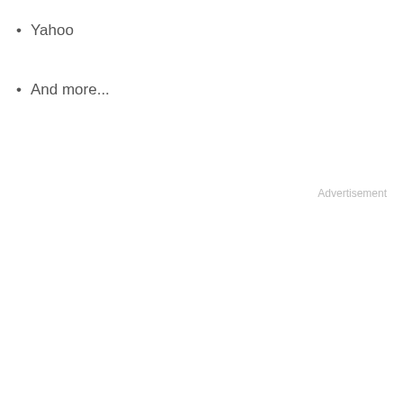Yahoo
And more...
Advertisement